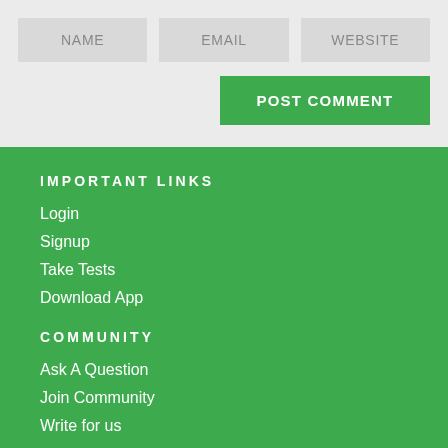[Figure (screenshot): Website comment form with NAME, EMAIL, WEBSITE input fields and a POST COMMENT button on a light gray background]
IMPORTANT LINKS
Login
Signup
Take Tests
Download App
COMMUNITY
Ask A Question
Join Community
Write for us